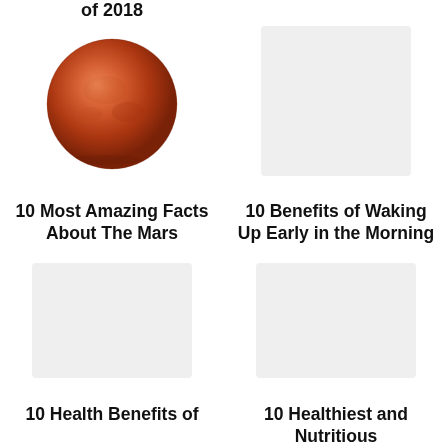of 2018
[Figure (photo): Photo of planet Mars, a reddish-orange sphere]
[Figure (photo): Placeholder image rectangle (light gray)]
10 Most Amazing Facts About The Mars
10 Benefits of Waking Up Early in the Morning
[Figure (photo): Placeholder image rectangle (light gray)]
[Figure (photo): Placeholder image rectangle (light gray)]
10 Health Benefits of
10 Healthiest and Nutritious